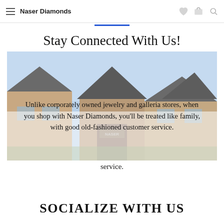Naser Diamonds
Stay Connected With Us!
[Figure (photo): Exterior photo of a Naser Diamonds jewelry store building with a peaked roof entrance, overlaid with text about customer service.]
Unlike corporately owned jewelry and galleria stores, when you shop with Naser Diamonds, you'll be treated like family, with good old-fashioned customer service.
SOCIALIZE WITH US